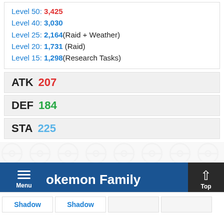Level 50: 3,425
Level 40: 3,030
Level 25: 2,164 (Raid + Weather)
Level 20: 1,731 (Raid)
Level 15: 1,298 (Research Tasks)
| Stat | Value |
| --- | --- |
| ATK | 207 |
| DEF | 184 |
| STA | 225 |
Advertisement
Pokémon Family
Shadow  Shadow